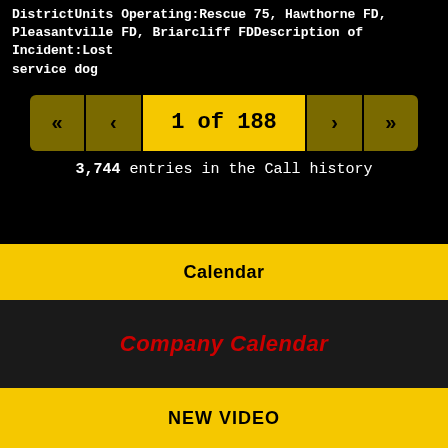DistrictUnits Operating:Rescue 75, Hawthorne FD, Pleasantville FD, Briarcliff FDDescription of Incident:Lost service dog
1 of 188
3,744 entries in the Call history
Calendar
Company Calendar
NEW VIDEO